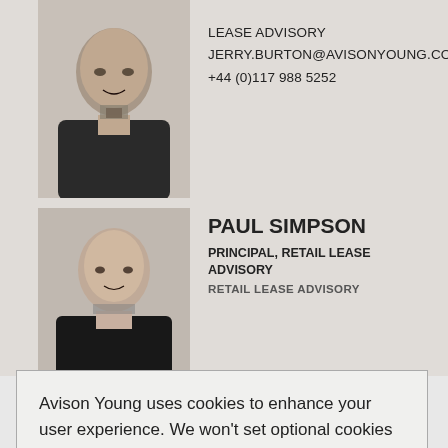[Figure (photo): Headshot of Jerry Burton, a man in a suit with a tie, grey background]
LEASE ADVISORY
JERRY.BURTON@AVISONYOUNG.COM
+44 (0)117 988 5252
[Figure (photo): Headshot of Paul Simpson, a man in a dark suit, grey background]
PAUL SIMPSON
PRINCIPAL, RETAIL LEASE ADVISORY
RETAIL LEASE ADVISORY
Avison Young uses cookies to enhance your user experience. We won't set optional cookies unless you enable them. To find out more, read our privacy policy.
Do not allow cookies
Allow cookies
[Figure (photo): Partial headshot of a third person at the bottom of the page]